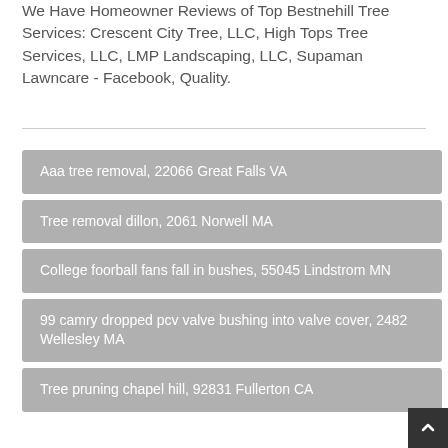We Have Homeowner Reviews of Top Bestnehill Tree Services: Crescent City Tree, LLC, High Tops Tree Services, LLC, LMP Landscaping, LLC, Supaman Lawncare - Facebook, Quality.
Aaa tree removal, 22066 Great Falls VA
Tree removal dillon, 2061 Norwell MA
College foorball fans fall in bushes, 55045 Lindstrom MN
99 camry dropped pcv valve bushing into valve cover, 2482 Wellesley MA
Tree pruning chapel hill, 92831 Fullerton CA